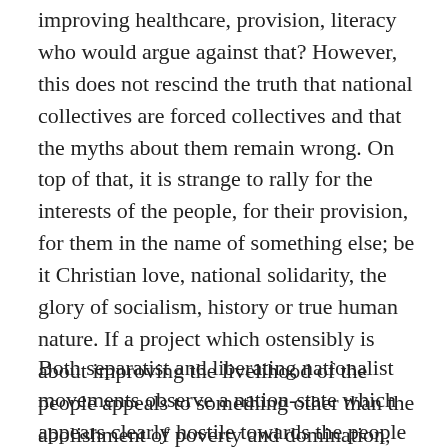improving healthcare, provision, literacy who would argue against that? However, this does not rescind the truth that national collectives are forced collectives and that the myths about them remain wrong. On top of that, it is strange to rally for the interests of the people, for their provision, for them in the name of something else; be it Christian love, national solidarity, the glory of socialism, history or true human nature. If a project which ostensibly is about improving the livelihood of the people appeals to something other than the abolishment of poverty and domination, this is a clue that this project is at least not only about those advancements.
Both separatist and liberating nationalist movements observe a nation-state which appears clearly hostile towards the people they claim to represent. From that